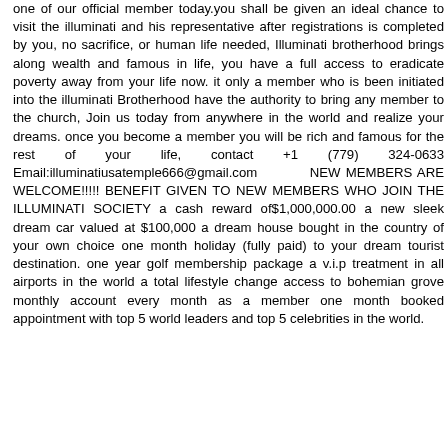one of our official member today.you shall be given an ideal chance to visit the illuminati and his representative after registrations is completed by you, no sacrifice, or human life needed, Illuminati brotherhood brings along wealth and famous in life, you have a full access to eradicate poverty away from your life now. it only a member who is been initiated into the illuminati Brotherhood have the authority to bring any member to the church, Join us today from anywhere in the world and realize your dreams. once you become a member you will be rich and famous for the rest of your life, contact +1 (779) 324-0633 Email:illuminatiusatemple666@gmail.com NEW MEMBERS ARE WELCOME!!!!! BENEFIT GIVEN TO NEW MEMBERS WHO JOIN THE ILLUMINATI SOCIETY a cash reward of$1,000,000.00 a new sleek dream car valued at $100,000 a dream house bought in the country of your own choice one month holiday (fully paid) to your dream tourist destination. one year golf membership package a v.i.p treatment in all airports in the world a total lifestyle change access to bohemian grove monthly account every month as a member one month booked appointment with top 5 world leaders and top 5 celebrities in the world.